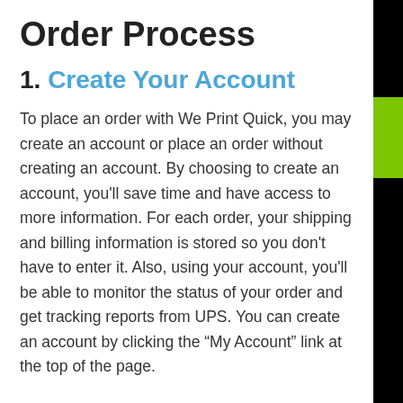Order Process
1. Create Your Account
To place an order with We Print Quick, you may create an account or place an order without creating an account. By choosing to create an account, you'll save time and have access to more information. For each order, your shipping and billing information is stored so you don't have to enter it. Also, using your account, you'll be able to monitor the status of your order and get tracking reports from UPS. You can create an account by clicking the “My Account” link at the top of the page.